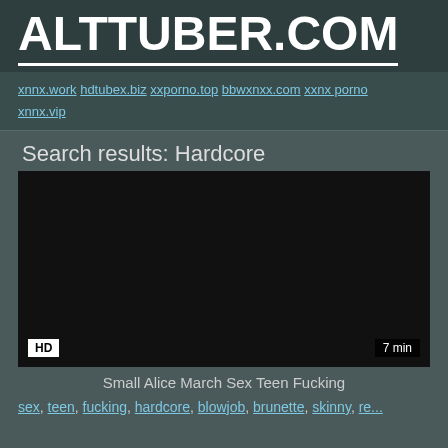ALTTUBER.COM
xnnx.work hdtubex.biz xxporno.top bbwxnxx.com xxnx porno xnnx.vip
Search results: Hardcore
[Figure (screenshot): Dark video thumbnail with HD badge and 7 min duration label]
Small Alice March Sex Teen Fucking
sex, teen, fucking, hardcore, blowjob, brunette, skinny, re...